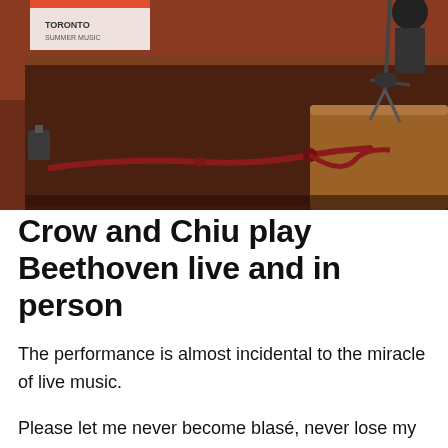[Figure (photo): Interior of a church showing wooden pews in the foreground with a dark reddish-brown finish, a red rope barrier strung between pew ends, and a red carpeted floor/stage area visible in the background. A microphone stand is visible in the upper right area. A banner or sign is partially visible in the upper left corner.]
Crow and Chiu play Beethoven live and in person
The performance is almost incidental to the miracle of live music.
Please let me never become blasé, never lose my sense of wonder and gratitude, inured to magic. This is a privilege. I was stunned that not only the Toronto Summer